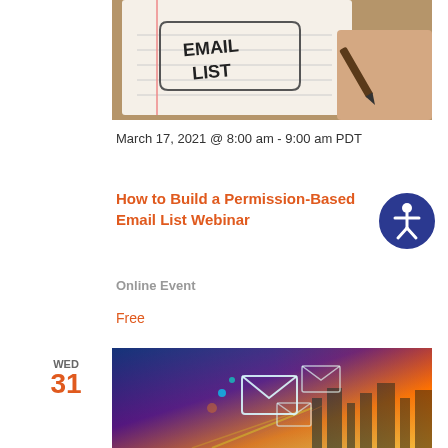[Figure (photo): Hand writing 'EMAIL LIST' on a notebook with a pen]
March 17, 2021 @ 8:00 am - 9:00 am PDT
How to Build a Permission-Based Email List Webinar
Online Event
Free
WED
31
[Figure (photo): Digital email and communication concept with glowing envelopes and city lights bokeh background]